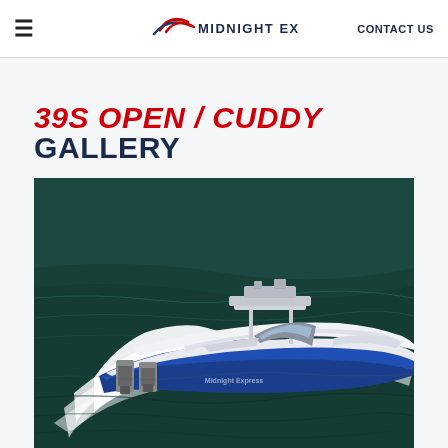Midnight Express — CONTACT US
39S Open / Cuddy GALLERY
[Figure (photo): Aerial view of a white and blue Midnight Express 39S Open/Cuddy speedboat racing across dark green ocean water, with white wake spray behind it. The boat has twin outboard motors, a T-top, and a blue hull stripe.]